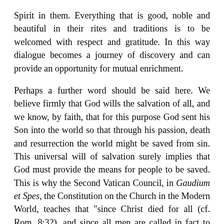Spirit in them. Everything that is good, noble and beautiful in their rites and traditions is to be welcomed with respect and gratitude. In this way dialogue becomes a journey of discovery and can provide an opportunity for mutual enrichment.
Perhaps a further word should be said here. We believe firmly that God wills the salvation of all, and we know, by faith, that for this purpose God sent his Son into the world so that through his passion, death and resurrection the world might be saved from sin. This universal will of salvation surely implies that God must provide the means for people to be saved. This is why the Second Vatican Council, in Gaudium et Spes, the Constitution on the Church in the Modern World, teaches that "since Christ died for all (cf. Rom. 8:32), and since all men are called in fact to one and the same destiny, which is divine, we must hold that the Holy Spirit offers to all the possibility of being made partners, in a way known to God, in the paschal mystery" (No. 22). The way is known to God, but can we inquire as to what this way might be? Are there